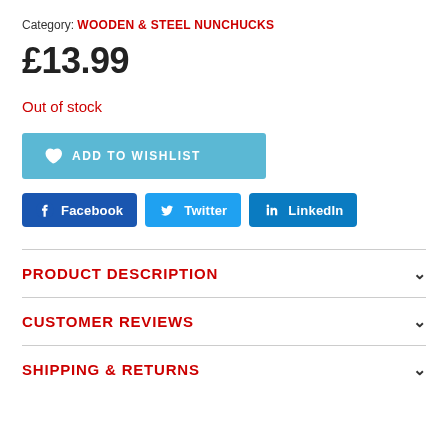Category: WOODEN & STEEL NUNCHUCKS
£13.99
Out of stock
ADD TO WISHLIST
Facebook   Twitter   LinkedIn
PRODUCT DESCRIPTION
CUSTOMER REVIEWS
SHIPPING & RETURNS